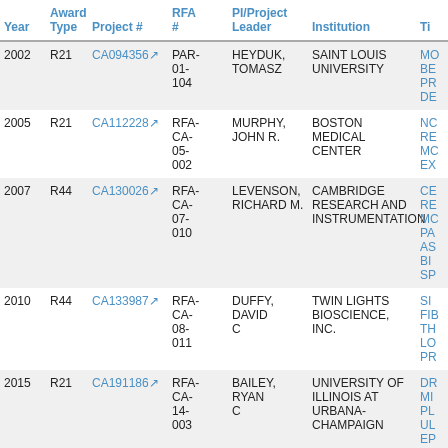| Year | Award Type | Project # | RFA # | PI/Project Leader | Institution | Ti... |
| --- | --- | --- | --- | --- | --- | --- |
| 2002 | R21 | CA094356 | PAR-01-104 | HEYDUK, TOMASZ | SAINT LOUIS UNIVERSITY | MO BE PR DE |
| 2005 | R21 | CA112228 | RFA-CA-05-002 | MURPHY, JOHN R. | BOSTON MEDICAL CENTER | NC RE MC EX |
| 2007 | R44 | CA130026 | RFA-CA-07-010 | LEVENSON, RICHARD M. | CAMBRIDGE RESEARCH AND INSTRUMENTATION | CE RE MC PA AS BI SP |
| 2010 | R44 | CA133987 | RFA-CA-08-011 | DUFFY, DAVID C | TWIN LIGHTS BIOSCIENCE, INC. | SI FIB TH LO PR |
| 2015 | R21 | CA191186 | RFA-CA-14-003 | BAILEY, RYAN C | UNIVERSITY OF ILLINOIS AT URBANA-CHAMPAIGN | DR MI PL UL EP |